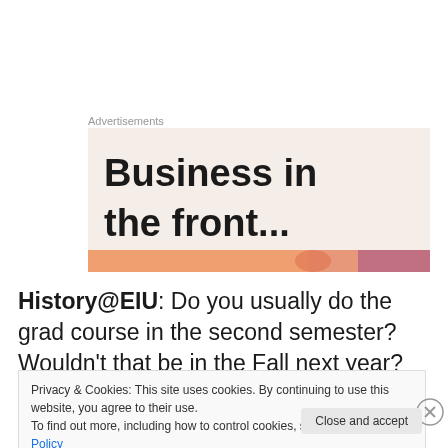Advertisements
[Figure (illustration): Advertisement banner with large bold text 'Business in the front...' on a light beige/pink background with a colorful gradient bar (orange to pink) at the bottom.]
History@EIU: Do you usually do the grad course in the second semester? Wouldn't that be in the Fall next year?
Privacy & Cookies: This site uses cookies. By continuing to use this website, you agree to their use. To find out more, including how to control cookies, see here: Cookie Policy
Close and accept